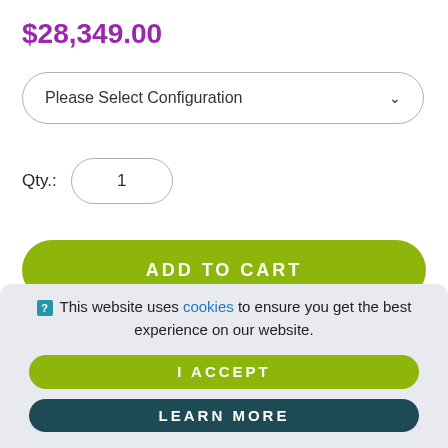$28,349.00
Please Select Configuration
Qty.: 1
ADD TO CART
This website uses cookies to ensure you get the best experience on our website.
I ACCEPT
LEARN MORE